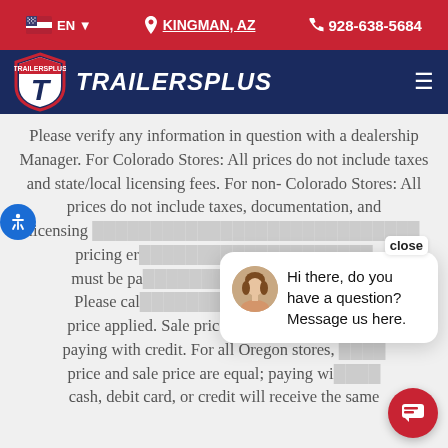EN | KINGMAN, AZ | 928-638-5684
[Figure (logo): TrailersPlus logo with shield icon and brand name in italic white text on dark blue navigation bar]
Please verify any information in question with a dealership Manager. For Colorado Stores: All prices do not include taxes and state/local licensing fees. For non- Colorado Stores: All prices do not include taxes, documentation, and licensing [fees]. [pricing er...] must be pa[id]. Please cal[l for] price applied. Sale price reflects the price when paying with credit. For all Oregon stores, [regular] price and sale price are equal; paying wi[th] cash, debit card, or credit will receive the same
[Figure (screenshot): Chat popup widget showing a female avatar photo and the message 'Hi there, do you have a question? Message us here.' with a close button. A red circular chat button is also visible in the bottom right.]